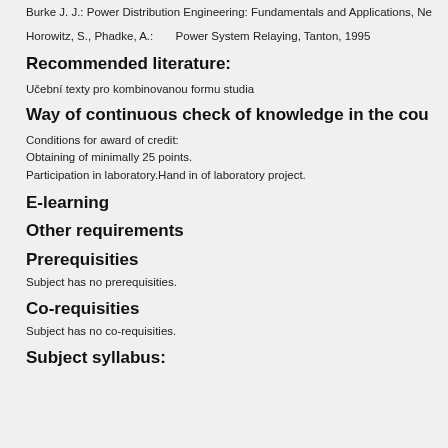Burke J. J.: Power Distribution Engineering: Fundamentals and Applications, Ne
Horowitz, S., Phadke, A.:        Power System Relaying, Tanton, 1995
Recommended literature:
Učební texty pro kombinovanou formu studia
Way of continuous check of knowledge in the cou
Conditions for award of credit:
Obtaining of minimally 25 points.
Participation in laboratory.Hand in of laboratory project.
E-learning
Other requirements
Prerequisities
Subject has no prerequisities.
Co-requisities
Subject has no co-requisities.
Subject syllabus: